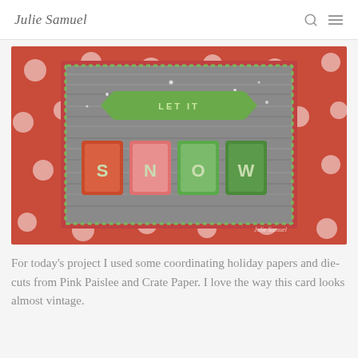Julie Samuel
[Figure (photo): A handmade holiday card featuring banner letters spelling 'LET IT SNOW' with colorful die-cut tiles on a wood-grain background, set against a red polka-dot backdrop. The card appears vintage-style with a green striped border.]
For today’s project I used some coordinating holiday papers and die-cuts from Pink Paislee and Crate Paper. I love the way this card looks almost vintage.